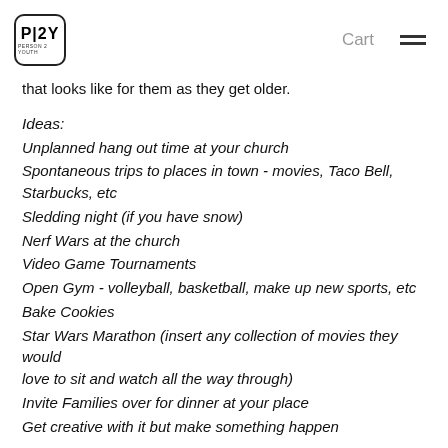P2Y | Cart
that looks like for them as they get older.
Ideas:
Unplanned hang out time at your church
Spontaneous trips to places in town - movies, Taco Bell, Starbucks, etc
Sledding night (if you have snow)
Nerf Wars at the church
Video Game Tournaments
Open Gym - volleyball, basketball, make up new sports, etc
Bake Cookies
Star Wars Marathon (insert any collection of movies they would love to sit and watch all the way through)
Invite Families over for dinner at your place
Get creative with it but make something happen